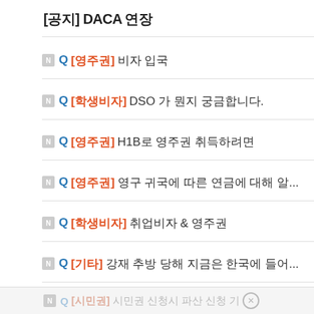[공지] DACA 연장
Q [영주권] 비자 입국
Q [학생비자] DSO 가 뭔지 궁금합니다.
Q [영주권] H1B로 영주권 취득하려면
Q [영주권] 영구 귀국에 따른 연금에 대해 알...
Q [학생비자] 취업비자 & 영주권
Q [기타] 강재 추방 당해 지금은 한국에 들어...
Q [학생비자] OPT
Q [시민권] 시민권 신청시 파산 신청 기...